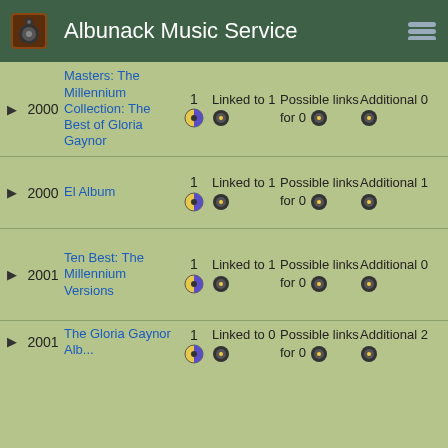Albunack Music Service
|  | Year | Title | Count | Linked | Possible links | Additional |
| --- | --- | --- | --- | --- | --- | --- |
| ▶ | 2000 | Masters: The Millennium Collection: The Best of Gloria Gaynor | 1 | Linked to 1 | Possible links for 0 | Additional 0 |
| ▶ | 2000 | El Album | 1 | Linked to 1 | Possible links for 0 | Additional 1 |
| ▶ | 2001 | Ten Best: The Millennium Versions | 1 | Linked to 1 | Possible links for 0 | Additional 0 |
| ▶ | 2001 | The Gloria Gaynor Album | 1 | Linked to 0 | Possible links for 0 | Additional 2 |